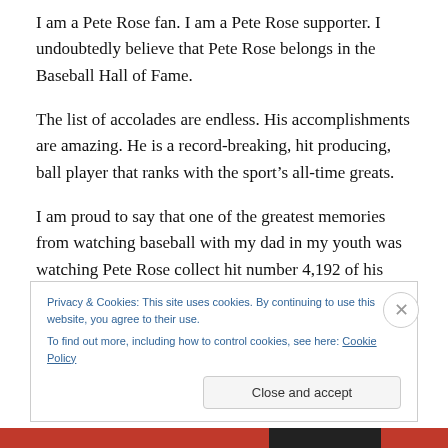I am a Pete Rose fan. I am a Pete Rose supporter. I undoubtedly believe that Pete Rose belongs in the Baseball Hall of Fame.
The list of accolades are endless. His accomplishments are amazing. He is a record-breaking, hit producing, ball player that ranks with the sport's all-time greats.
I am proud to say that one of the greatest memories from watching baseball with my dad in my youth was watching Pete Rose collect hit number 4,192 of his career. That moment on the field, and that memory formed in my living
Privacy & Cookies: This site uses cookies. By continuing to use this website, you agree to their use.
To find out more, including how to control cookies, see here: Cookie Policy
Close and accept